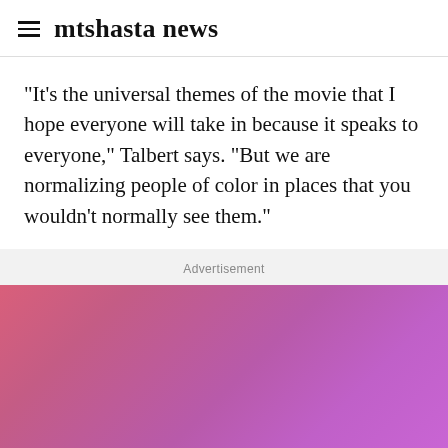≡  mtshasta news
"It's the universal themes of the movie that I hope everyone will take in because it speaks to everyone," Talbert says. "But we are normalizing people of color in places that you wouldn't normally see them."
Advertisement
[Figure (other): Advertisement banner with pink-to-purple gradient background]